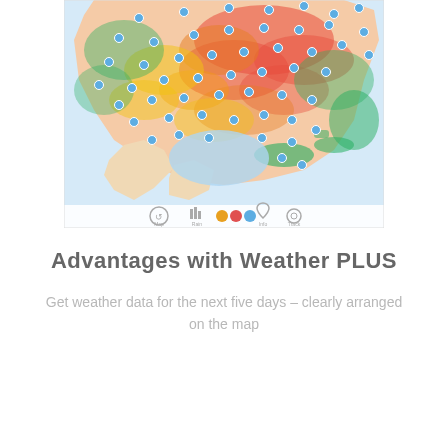[Figure (map): A weather map showing North America and Central America with colored heat zones (red, orange, yellow, green) indicating weather conditions, and numerous blue circular markers indicating weather station or forecast locations. A toolbar with icons appears at the bottom of the map.]
Advantages with Weather PLUS
Get weather data for the next five days – clearly arranged on the map